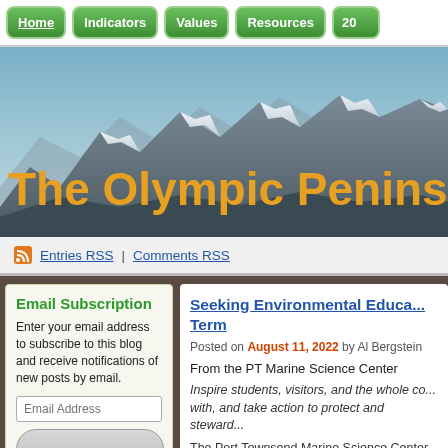Home | Indicators | Values | Resources | 20...
[Figure (photo): Mountain landscape banner with snow-capped peaks and orange text reading 'The Olympic Peninsul...']
Entries RSS | Comments RSS
Email Subscription
Enter your email address to subscribe to this blog and receive notifications of new posts by email.
Seeking Environmental Educa... Term
Posted on August 11, 2022 by Al Bergstein
From the PT Marine Science Center
Inspire students, visitors, and the whole co... with, and take action to protect and steward...
The Port Townsend Marine Science Center...